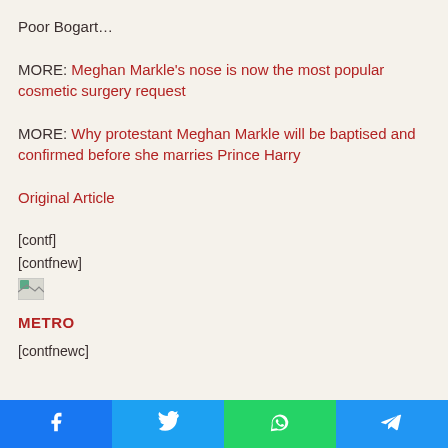Poor Bogart…
MORE: Meghan Markle's nose is now the most popular cosmetic surgery request
MORE: Why protestant Meghan Markle will be baptised and confirmed before she marries Prince Harry
Original Article
[contf]
[contfnew]
[Figure (other): Broken/missing image icon]
METRO
[contfnewc]
Facebook | Twitter | WhatsApp | Telegram share buttons